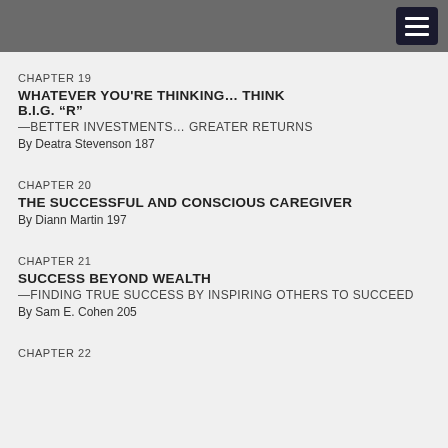CHAPTER 19
WHATEVER YOU'RE THINKING… THINK B.I.G. “R”
—BETTER INVESTMENTS… GREATER RETURNS
By Deatra Stevenson 187
CHAPTER 20
THE SUCCESSFUL AND CONSCIOUS CAREGIVER
By Diann Martin 197
CHAPTER 21
SUCCESS BEYOND WEALTH
—FINDING TRUE SUCCESS BY INSPIRING OTHERS TO SUCCEED
By Sam E. Cohen 205
CHAPTER 22